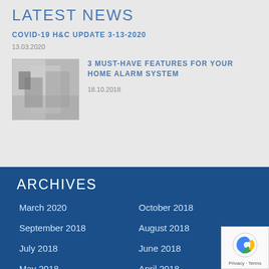LATEST NEWS
COVID-19 H&C UPDATE 3-13-2020
13.03.2020
[Figure (photo): Black and white thumbnail photo of a home alarm system or security device]
3 MUST-HAVE FEATURES FOR YOUR HOME ALARM SYSTEM
18.10.2018
ARCHIVES
March 2020
October 2018
September 2018
August 2018
July 2018
June 2018
May 2018
April 2018